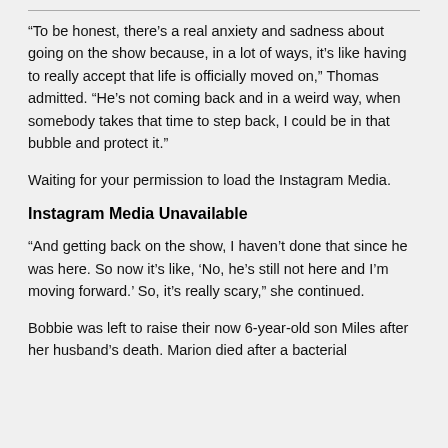“To be honest, there’s a real anxiety and sadness about going on the show because, in a lot of ways, it’s like having to really accept that life is officially moved on,” Thomas admitted. “He’s not coming back and in a weird way, when somebody takes that time to step back, I could be in that bubble and protect it.”
Waiting for your permission to load the Instagram Media.
Instagram Media Unavailable
“And getting back on the show, I haven’t done that since he was here. So now it’s like, ‘No, he’s still not here and I’m moving forward.’ So, it’s really scary,” she continued.
Bobbie was left to raise their now 6-year-old son Miles after her husband’s death. Marion died after a bacterial